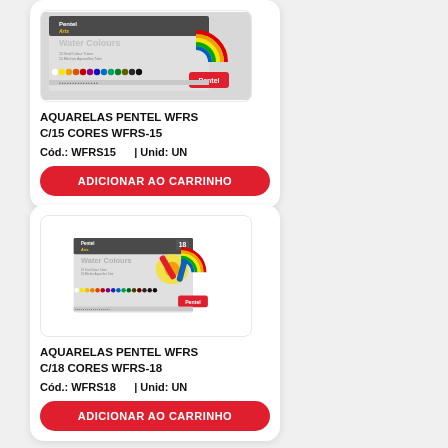[Figure (photo): Product image of Pentel Arts Water Colours WFRS-15 box with 15 color tubes, showing rainbow color swatches]
AQUARELAS PENTEL WFRS C/15 CORES WFRS-15
Cód.: WFRS15    | Unid: UN
ADICIONAR AO CARRINHO
[Figure (photo): Product image of Pentel Arts Water Colours WFRS-18 box with 18 color tubes, showing rainbow color swatches and brush]
AQUARELAS PENTEL WFRS C/18 CORES WFRS-18
Cód.: WFRS18    | Unid: UN
ADICIONAR AO CARRINHO